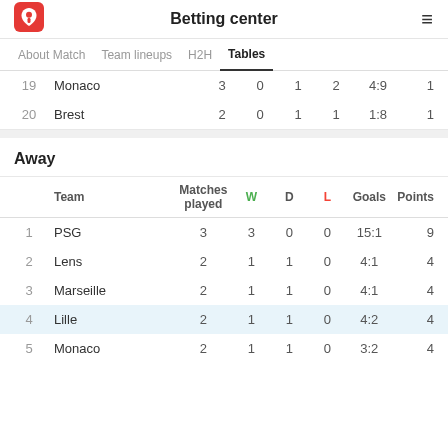Betting center
Tables (active tab), About Match, Team lineups, H2H
|  | Team | Matches played | W | D | L | Goals | Points |
| --- | --- | --- | --- | --- | --- | --- | --- |
| 19 | Monaco | 3 | 0 | 1 | 2 | 4:9 | 1 |
| 20 | Brest | 2 | 0 | 1 | 1 | 1:8 | 1 |
Away
|  | Team | Matches played | W | D | L | Goals | Points |
| --- | --- | --- | --- | --- | --- | --- | --- |
| 1 | PSG | 3 | 3 | 0 | 0 | 15:1 | 9 |
| 2 | Lens | 2 | 1 | 1 | 0 | 4:1 | 4 |
| 3 | Marseille | 2 | 1 | 1 | 0 | 4:1 | 4 |
| 4 | Lille | 2 | 1 | 1 | 0 | 4:2 | 4 |
| 5 | Monaco | 2 | 1 | 1 | 0 | 3:2 | 4 |